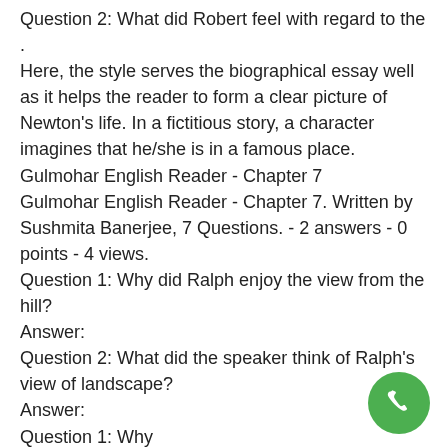Question 2: What did Robert feel with regard to the .
Here, the style serves the biographical essay well as it helps the reader to form a clear picture of Newton's life. In a fictitious story, a character imagines that he/she is in a famous place.
Gulmohar English Reader - Chapter 7
Gulmohar English Reader - Chapter 7. Written by Sushmita Banerjee, 7 Questions. - 2 answers - 0 points - 4 views.
Question 1: Why did Ralph enjoy the view from the hill?
Answer:
Question 2: What did the speaker think of Ralph's view of landscape?
Answer:
Question 1: Why